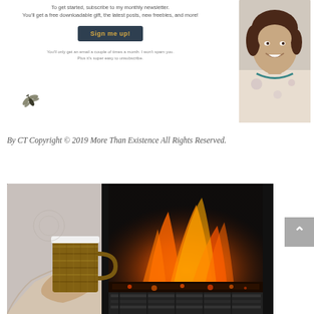[Figure (infographic): Newsletter signup section with text, a dark teal 'Sign me up!' button, a small bird/dragonfly illustration on the left, and a portrait photo of a smiling woman with short brown hair wearing a floral blouse and teal necklace on the right]
By CT Copyright © 2019 More Than Existence All Rights Reserved.
[Figure (photo): A person holding a knitted/woven mug cozy wrapped around a coffee cup, with a fireplace showing orange flames in the blurred background]